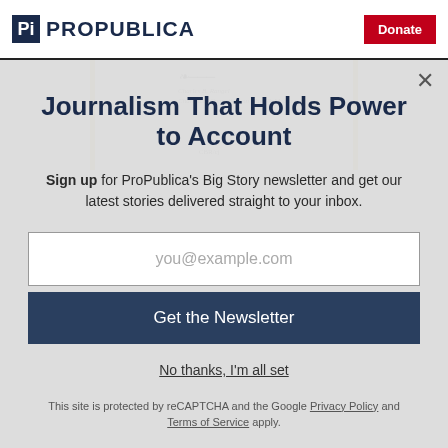ProPublica | Donate
[Figure (photo): Background showing a scanned document page with a signature reading 'Charles B. Rangel, Chairman, Committee on Ways & Means' and text 'CBR/cj']
Journalism That Holds Power to Account
Sign up for ProPublica's Big Story newsletter and get our latest stories delivered straight to your inbox.
you@example.com
Get the Newsletter
No thanks, I'm all set
This site is protected by reCAPTCHA and the Google Privacy Policy and Terms of Service apply.